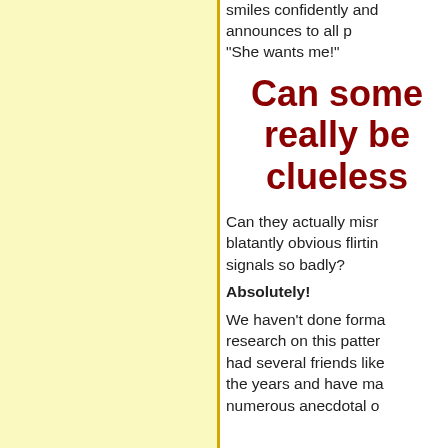smiles confidently and announces to all present, "She wants me!"
Can some really be clueless
Can they actually misread blatantly obvious flirting signals so badly?
Absolutely!
We haven't done formal research on this pattern, had several friends like the years and have made numerous anecdotal o